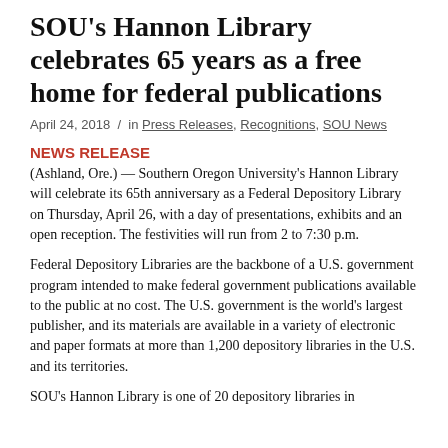SOU's Hannon Library celebrates 65 years as a free home for federal publications
April 24, 2018 / in Press Releases, Recognitions, SOU News
NEWS RELEASE
(Ashland, Ore.) — Southern Oregon University's Hannon Library will celebrate its 65th anniversary as a Federal Depository Library on Thursday, April 26, with a day of presentations, exhibits and an open reception. The festivities will run from 2 to 7:30 p.m.
Federal Depository Libraries are the backbone of a U.S. government program intended to make federal government publications available to the public at no cost. The U.S. government is the world's largest publisher, and its materials are available in a variety of electronic and paper formats at more than 1,200 depository libraries in the U.S. and its territories.
SOU's Hannon Library is one of 20 depository libraries in